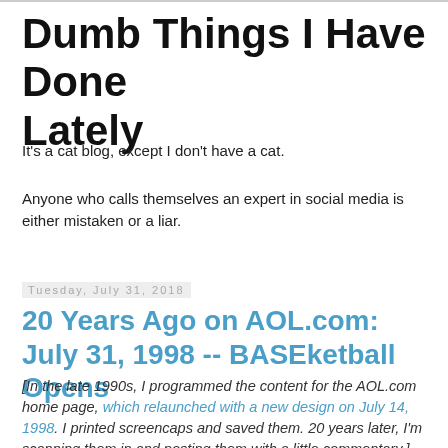Dumb Things I Have Done Lately
It's a cat blog, except I don't have a cat.
Anyone who calls themselves an expert in social media is either mistaken or a liar.
Tuesday, July 31, 2018
20 Years Ago on AOL.com: July 31, 1998 -- BASEketball Opens
[In the late 1990s, I programmed the content for the AOL.com home page, which relaunched with a new design on July 14, 1998. I printed screencaps and saved them. 20 years later, I'm scanning them in and posting them with a little commentary.]